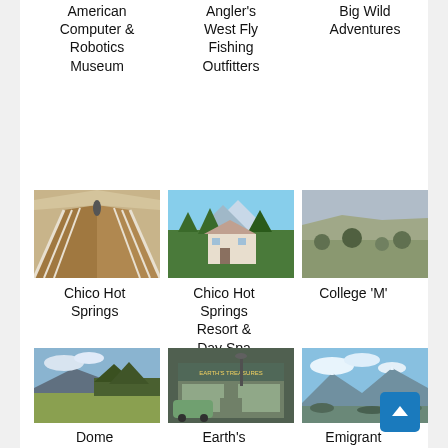American Computer & Robotics Museum
Angler's West Fly Fishing Outfitters
Big Wild Adventures
[Figure (photo): A covered walkway corridor with wooden floor and white railing, perspective view]
Chico Hot Springs
[Figure (photo): A large house or resort building with mountains and trees in background]
Chico Hot Springs Resort & Day Spa
[Figure (photo): Aerial or elevated view of a valley or wilderness landscape]
College 'M'
[Figure (photo): Open field or ranch land with mountains and trees in background]
Dome Mountain Ranch
[Figure (photo): A vintage shop storefront with Earth's Treasures signage and a vehicle parked outside]
Earth's Treasures
[Figure (photo): Mountain range with snowy peaks and blue sky with clouds]
Emigrant